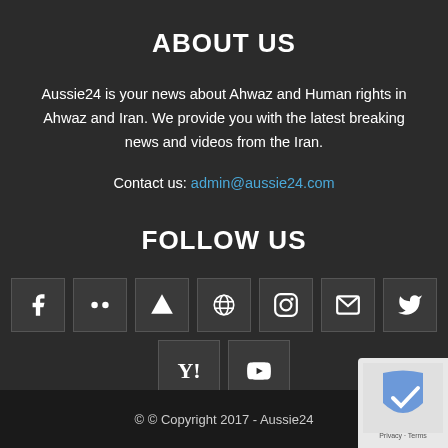ABOUT US
Aussie24 is your news about Ahwaz and Human rights in Ahwaz and Iran. We provide you with the latest breaking news and videos from the Iran.
Contact us: admin@aussie24.com
FOLLOW US
[Figure (infographic): Social media icons row: Facebook, Flickr, App icon, Cloud icon, Instagram, Email, Twitter]
[Figure (infographic): Social media icons row 2: Yahoo, YouTube]
© © Copyright 2017 - Aussie24